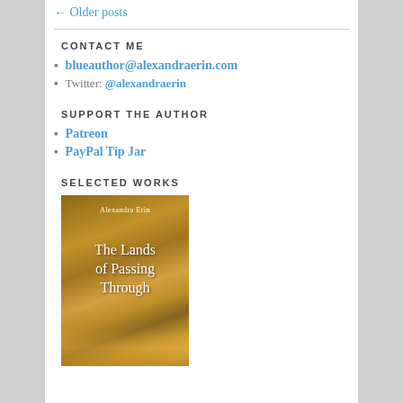← Older posts
CONTACT ME
blueauthor@alexandraerin.com
Twitter: @alexandraerin
SUPPORT THE AUTHOR
Patreon
PayPal Tip Jar
SELECTED WORKS
[Figure (photo): Book cover for 'The Lands of Passing Through' by Alexandra Erin — moody sky background in golden/brown tones with white serif text]